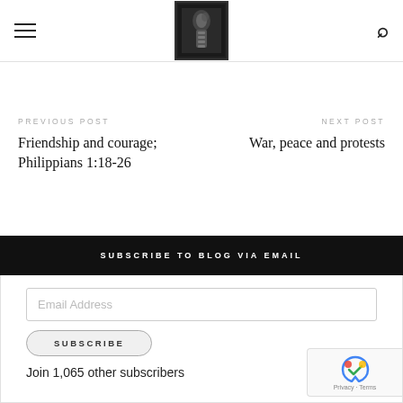Blog header with hamburger menu, logo image, and search icon
PREVIOUS POST
Friendship and courage; Philippians 1:18-26
NEXT POST
War, peace and protests
SUBSCRIBE TO BLOG VIA EMAIL
Email Address
SUBSCRIBE
Join 1,065 other subscribers